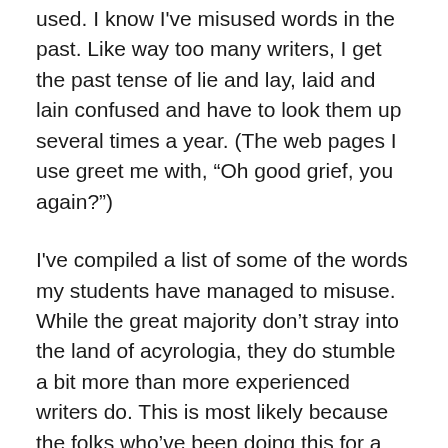used. I know I've misused words in the past. Like way too many writers, I get the past tense of lie and lay, laid and lain confused and have to look them up several times a year. (The web pages I use greet me with, “Oh good grief, you again?”)
I've compiled a list of some of the words my students have managed to misuse. While the great majority don’t stray into the land of acyrologia, they do stumble a bit more than more experienced writers do. This is most likely because the folks who’ve been doing this for a good while are well aware that they’ll make the same kinds of mistakes, so they make sure they’ve got a bunch of sharp-eyed readers to help them ferret out the offenders.
Here are some of the words I’ve seen most often used incorrectly. Do you think you might have accidentally used